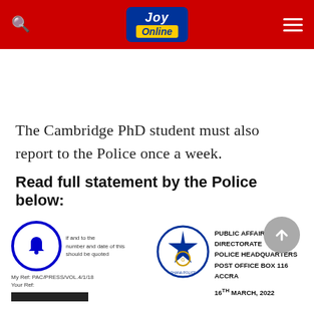JOY Online
The Cambridge PhD student must also report to the Police once a week.
Read full statement by the Police below:
[Figure (screenshot): Partial view of a Ghana Police letter with bell notification icon overlay, Ghana Police logo/badge, and letterhead reading: PUBLIC AFFAIRS DIRECTORATE, POLICE HEADQUARTERS, POST OFFICE BOX 116, ACCRA. Date: 16TH MARCH, 2022. My Ref: PAC/PRESS/VOL.4/1/18. Your Ref: [blank]. Reference to 'please quote the number and date of this letter should be quoted'.]